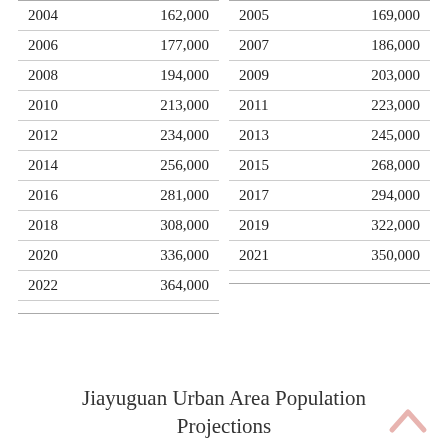| Year | Population |
| --- | --- |
| 2004 | 162,000 |
| 2006 | 177,000 |
| 2008 | 194,000 |
| 2010 | 213,000 |
| 2012 | 234,000 |
| 2014 | 256,000 |
| 2016 | 281,000 |
| 2018 | 308,000 |
| 2020 | 336,000 |
| 2022 | 364,000 |
| Year | Population |
| --- | --- |
| 2005 | 169,000 |
| 2007 | 186,000 |
| 2009 | 203,000 |
| 2011 | 223,000 |
| 2013 | 245,000 |
| 2015 | 268,000 |
| 2017 | 294,000 |
| 2019 | 322,000 |
| 2021 | 350,000 |
Jiayuguan Urban Area Population Projections